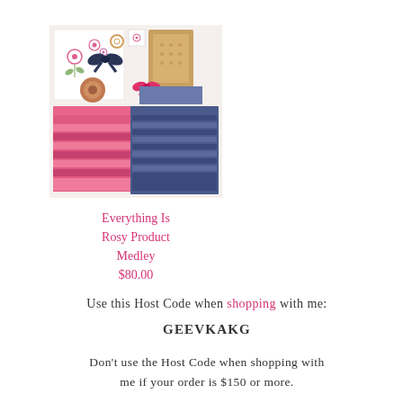[Figure (photo): Flat lay product photo showing craft/scrapbooking papers, ribbons, bows and embellishments in pink and navy colors arranged on white background]
Everything Is Rosy Product Medley
$80.00
Use this Host Code when shopping with me:
GEEVKAKG
Don't use the Host Code when shopping with me if your order is $150 or more.